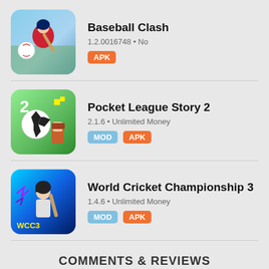[Figure (screenshot): Baseball Clash app icon showing a baseball player batting with a stadium background]
Baseball Clash
1.2.0016748 • No
APK
[Figure (screenshot): Pocket League Story 2 app icon showing a soccer ball and pixel art characters on green background]
Pocket League Story 2
2.1.6 • Unlimited Money
MOD APK
[Figure (screenshot): World Cricket Championship 3 app icon showing a cricket player with WCC3 logo on blue background]
World Cricket Championship 3
1.4.6 • Unlimited Money
MOD APK
COMMENTS & REVIEWS